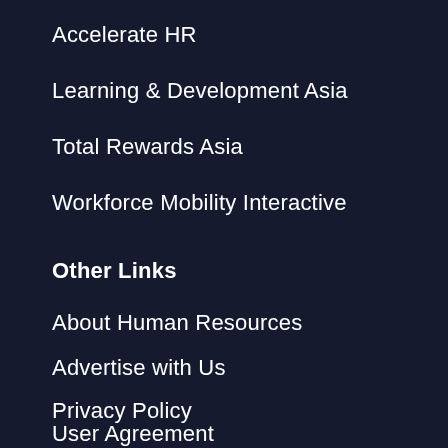Accelerate HR
Learning & Development Asia
Total Rewards Asia
Workforce Mobility Interactive
Other Links
About Human Resources
Advertise with Us
Privacy Policy
User Agreement